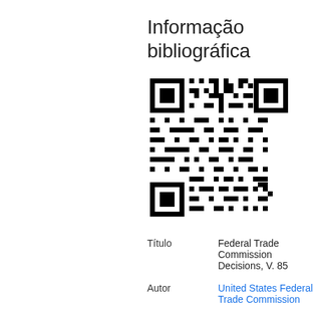Informação bibliográfica
[Figure (other): QR code image]
| Field | Value |
| --- | --- |
| Título | Federal Trade Commission Decisions, V. 85 |
| Autor | United States Federal Trade Commission |
| Colaboradores | United States Federal Trade Commission Rules and ... |